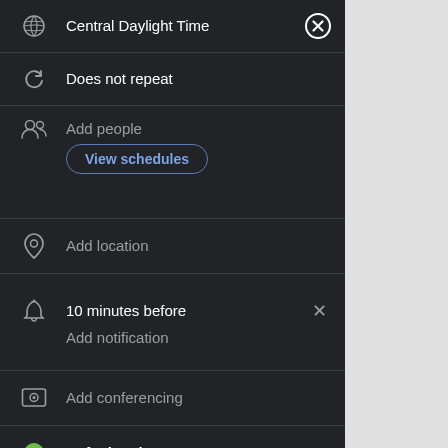[Figure (screenshot): Google Calendar event editor UI on dark background showing: Central Daylight Time (with globe icon and X button), Does not repeat (with refresh icon), Add people section with View schedules button, Add location, 10 minutes before notification with X, Add notification, Add conferencing, Default color (green dot), Add description with X button]
Central Daylight Time
Does not repeat
Add people / View schedules
Add location
10 minutes before / Add notification
Add conferencing
Default color
Add description